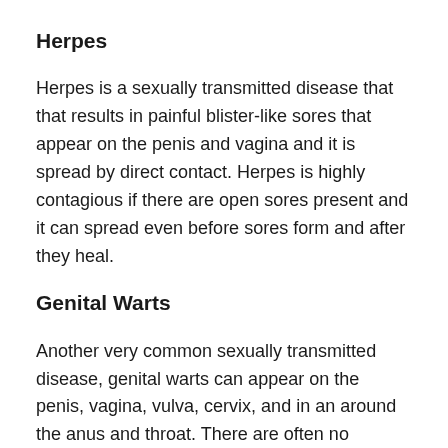Herpes
Herpes is a sexually transmitted disease that that results in painful blister-like sores that appear on the penis and vagina and it is spread by direct contact. Herpes is highly contagious if there are open sores present and it can spread even before sores form and after they heal.
Genital Warts
Another very common sexually transmitted disease, genital warts can appear on the penis, vagina, vulva, cervix, and in an around the anus and throat. There are often no symptoms at first and then a few months after contact with an infected person bumps may appear on the areas